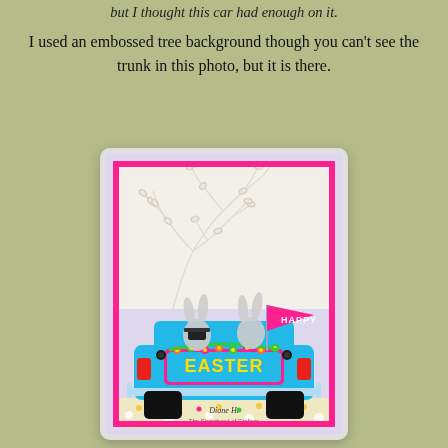but I thought this car had enough on it.
I used an embossed tree background though you can't see the trunk in this photo, but it is there.
[Figure (photo): Handmade Easter card featuring two silver bunnies sitting in a blue car with EASTER written on the back, decorated with colorful flowers and a pink pennant flag saying HAPPY, set against an embossed tree branch background on white card stock with hot pink border. Signed by Diane H., The Sisterhood of Crafters.]